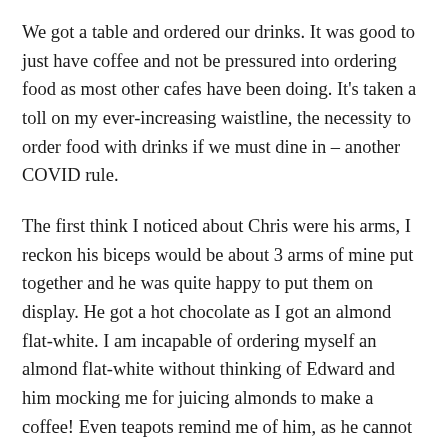We got a table and ordered our drinks. It was good to just have coffee and not be pressured into ordering food as most other cafes have been doing. It's taken a toll on my ever-increasing waistline, the necessity to order food with drinks if we must dine in – another COVID rule.
The first think I noticed about Chris were his arms, I reckon his biceps would be about 3 arms of mine put together and he was quite happy to put them on display. He got a hot chocolate as I got an almond flat-white. I am incapable of ordering myself an almond flat-white without thinking of Edward and him mocking me for juicing almonds to make a coffee! Even teapots remind me of him, as he cannot work his way around weird teapots. I will have to cover Edward Frankle off in